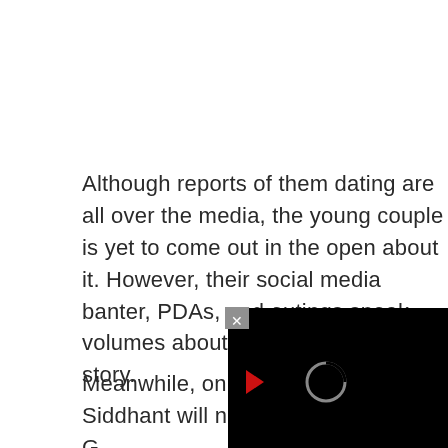Although reports of them dating are all over the media, the young couple is yet to come out in the open about it. However, their social media banter, PDAs, and outings speak volumes about their secret love story.
Meanwhile, on the work front, Siddhant will next be seen in ‘Kho G[aye Hum] Kahan’ co-starring Ananya [Panday and] Adarsh Gourav in lead rol[es. He is] also awaiting the release [of...]
[Figure (screenshot): A video player overlay in the bottom-right corner with a black background, a red play button icon on the left side, a circular spinner/loading indicator in the center-right, and a gray close (X) button at the top-left corner of the overlay.]